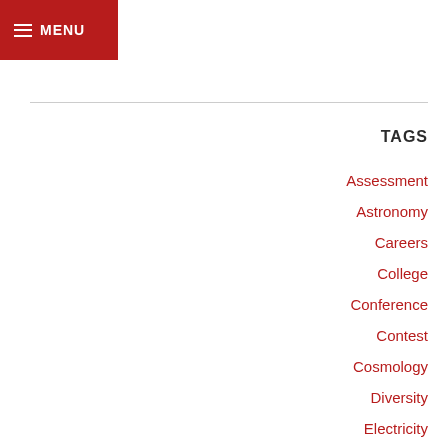MENU
TAGS
Assessment
Astronomy
Careers
College
Conference
Contest
Cosmology
Diversity
Electricity
Energy
Field Theory